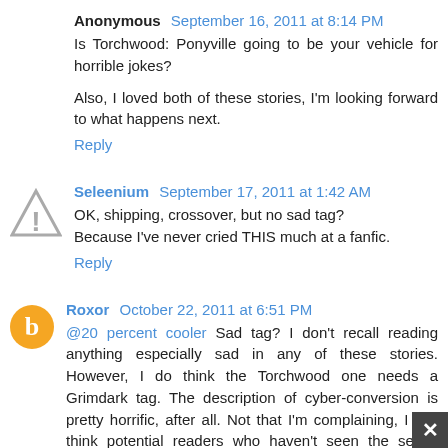Anonymous September 16, 2011 at 8:14 PM
Is Torchwood: Ponyville going to be your vehicle for horrible jokes?

Also, I loved both of these stories, I'm looking forward to what happens next.
Reply
Seleenium September 17, 2011 at 1:42 AM
OK, shipping, crossover, but no sad tag? Because I've never cried THIS much at a fanfic.
Reply
Roxor October 22, 2011 at 6:51 PM
@20 percent cooler Sad tag? I don't recall reading anything especially sad in any of these stories. However, I do think the Torchwood one needs a Grimdark tag. The description of cyber-conversion is pretty horrific, after all. Not that I'm complaining, I just think potential readers who haven't seen the series need fair warning.